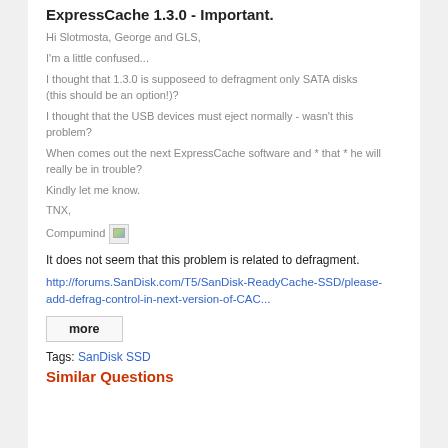ExpressCache 1.3.0 - Important.
Hi Slotmosta, George and GLS,
I'm a little confused...
I thought that 1.3.0 is supposeed to defragment only SATA disks (this should be an option!)?
I thought that the USB devices must eject normally - wasn't this problem?
When comes out the next ExpressCache software and * that * he will really be in trouble?
Kindly let me know.
TNX,
Compumind
It does not seem that this problem is related to defragment.
http://forums.SanDisk.com/T5/SanDisk-ReadyCache-SSD/please-add-defrag-control-in-next-version-of-CAC...
more
Tags: SanDisk SSD
Similar Questions